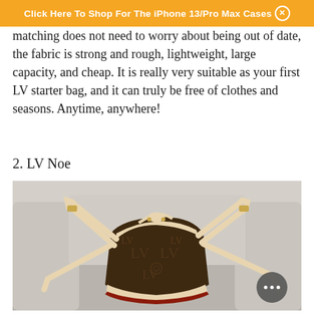Click Here To Shop For The iPhone 13/Pro Max Cases ×
matching does not need to worry about being out of date, the fabric is strong and rough, lightweight, large capacity, and cheap. It is really very suitable as your first LV starter bag, and it can truly be free of clothes and seasons. Anytime, anywhere!
2. LV Noe
[Figure (photo): A Louis Vuitton Noe bucket bag in classic monogram canvas with cream/beige leather trim, drawstring closure, and shoulder strap, displayed on a gray linen sofa. A chat bubble icon is visible in the lower right corner of the image.]